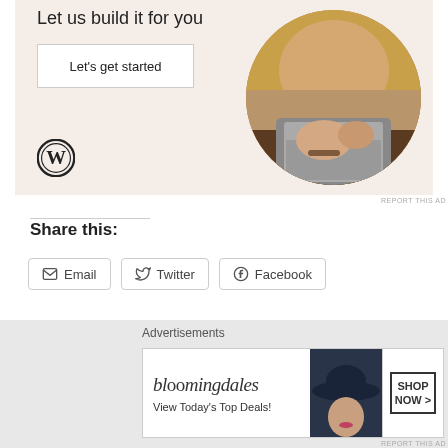[Figure (screenshot): WordPress advertisement banner with beige background showing 'Let us build it for you' text, 'Let's get started' button, WordPress logo, and circular photo of hands typing on laptop]
REPORT THIS AD
Share this:
Email
Twitter
Facebook
Loading...
[Figure (screenshot): Bloomingdale's advertisement banner showing logo, 'View Today's Top Deals!' text, woman with hat, and 'SHOP NOW >' button]
Advertisements
REPORT THIS AD